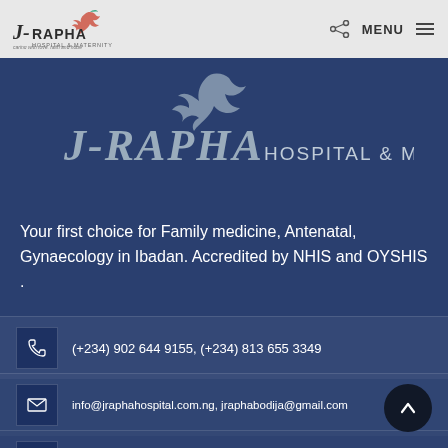J-RAPHA HOSPITAL & MATERNITY | caring with love, faith and hope | MENU
[Figure (logo): J-Rapha Hospital & Maternity logo with dove bird and tagline 'caring with love, faith and hope' on blue background]
Your first choice for Family medicine, Antenatal, Gynaecology in Ibadan. Accredited by NHIS and OYSHIS .
(+234) 902 644 9155, (+234) 813 655 3349
info@jraphahospital.com.ng, jraphabodija@gmail.com
CONSULTING: (+234) 902 240 4320